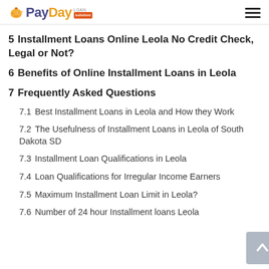PayDay Loan Solution
5  Installment Loans Online Leola No Credit Check, Legal or Not?
6  Benefits of Online Installment Loans in Leola
7  Frequently Asked Questions
7.1  Best Installment Loans in Leola and How they Work
7.2  The Usefulness of Installment Loans in Leola of South Dakota SD
7.3  Installment Loan Qualifications in Leola
7.4  Loan Qualifications for Irregular Income Earners
7.5  Maximum Installment Loan Limit in Leola?
7.6  Number of 24 hour Installment loans Leola